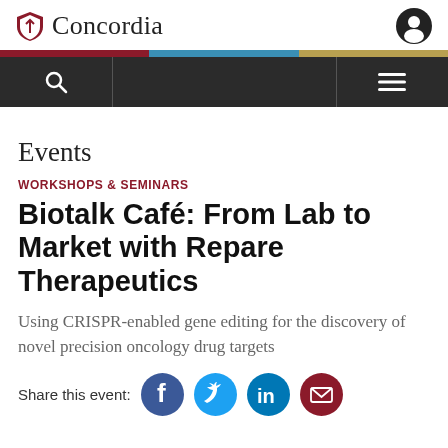Concordia
WORKSHOPS & SEMINARS
Biotalk Café: From Lab to Market with Repare Therapeutics
Using CRISPR-enabled gene editing for the discovery of novel precision oncology drug targets
Share this event: